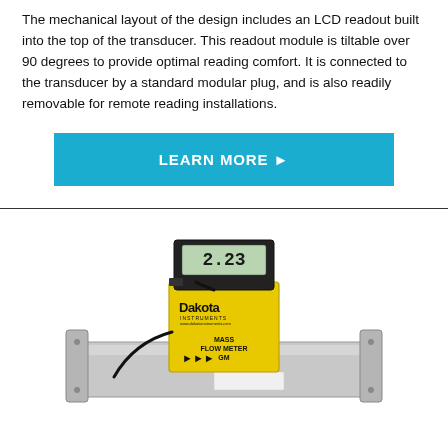The mechanical layout of the design includes an LCD readout built into the top of the transducer. This readout module is tiltable over 90 degrees to provide optimal reading comfort. It is connected to the transducer by a standard modular plug, and is also readily removable for remote reading installations.
[Figure (other): A cyan/teal rectangular button with white bold text reading 'LEARN MORE ▶']
[Figure (photo): A Dakota Instruments Mass Flow Meter (GM model) with a black LCD readout module displaying '2.23' mounted on top of a yellow body device, which is mounted on a silver/aluminum flow tube with flanges on both ends.]